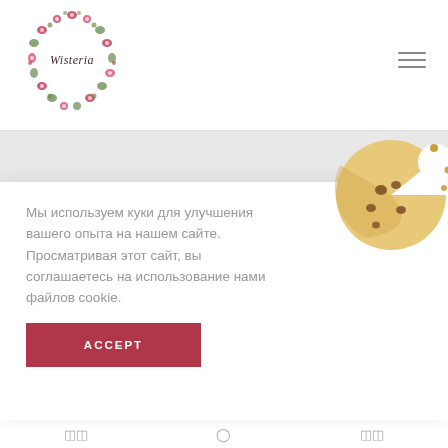[Figure (logo): Circular floral wreath logo with cursive text 'Wisteria' in the center, flowers and leaves arranged in a ring]
[Figure (illustration): Hamburger menu icon with three horizontal lines, top right of header]
Мы используем куки для улучшения вашего опыта на нашем сайте. Просматривая этот сайт, вы соглашаетесь на использование нами файлов cookie.
[Figure (illustration): Cookie emoji illustration — golden-yellow bitten cookie with brown chocolate chip dots, right side of cookie dialog]
ACCEPT